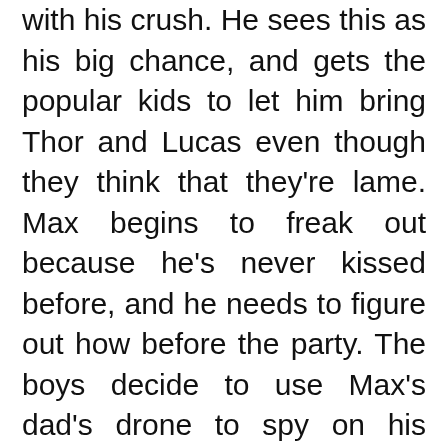with his crush. He sees this as his big chance, and gets the popular kids to let him bring Thor and Lucas even though they think that they're lame. Max begins to freak out because he's never kissed before, and he needs to figure out how before the party. The boys decide to use Max's dad's drone to spy on his neighbor Hannah (Gordon) and her friend Lily (Francis) because Max knows she has a boyfriend that she's always making out with.